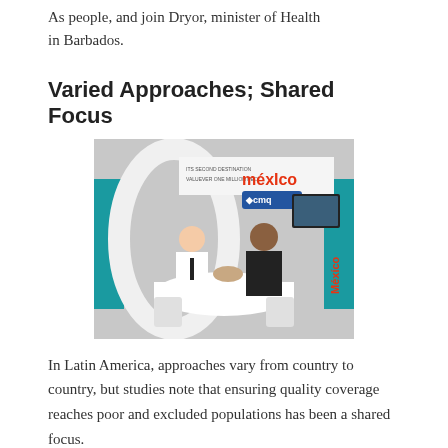As people, and join Dryor,minister of Health in Barbados.
Varied Approaches; Shared Focus
[Figure (photo): Two men at a Mexico tourism/health expo booth with México and ACMQ branding, shaking hands across a white curved desk.]
In Latin America, approaches vary from country to country, but studies note that ensuring quality coverage reaches poor and excluded populations has been a shared focus.